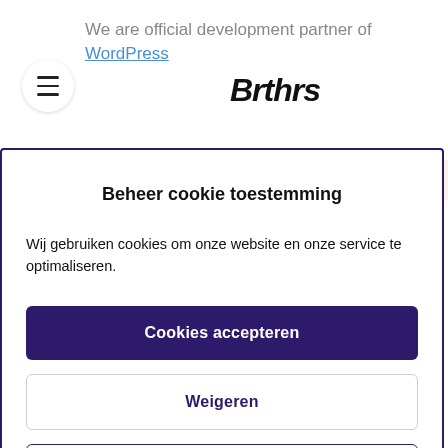We are official development partner of WordPress
[Figure (logo): Brthrs logo in bold italic handwritten style font]
Beheer cookie toestemming
Wij gebruiken cookies om onze website en onze service te optimaliseren.
Cookies accepteren
Weigeren
Bekijk voorkeuren